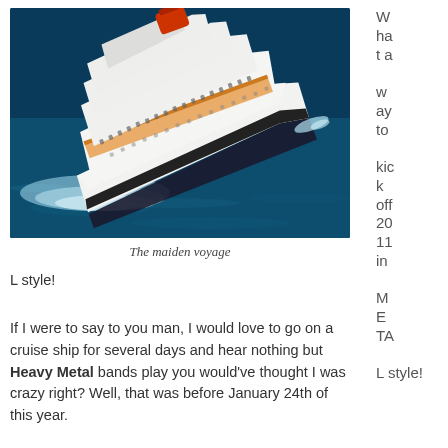[Figure (photo): Aerial view of a large white cruise ship sailing on dark blue ocean water, photographed from above at an angle. The ship has multiple decks with orange and white accents.]
The maiden voyage
What a way to kick off 2011 in METAL style!
If I were to say to you man, I would love to go on a cruise ship for several days and hear nothing but Heavy Metal bands play you would've thought I was crazy right? Well, that was before January 24th of this year.